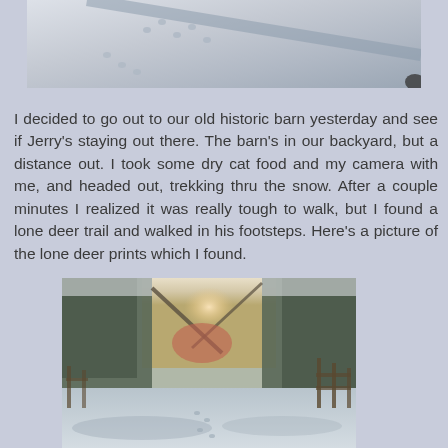[Figure (photo): Aerial/close-up view of deer tracks in snow, with a shadow visible across the snowy ground]
I decided to go out to our old historic barn yesterday and see if Jerry's staying out there.  The barn's in our backyard, but a distance out.  I took some dry cat food and my camera with me, and headed out, trekking thru the snow.  After a couple minutes I realized it was really tough to walk, but I found a lone deer trail and walked in his footsteps.  Here's a picture of the lone deer prints which I found.
[Figure (photo): Winter woodland scene showing a snow-covered path or trail with trees on both sides, sunlight peeking through the trees in the background, and a wooden fence visible on the right side]